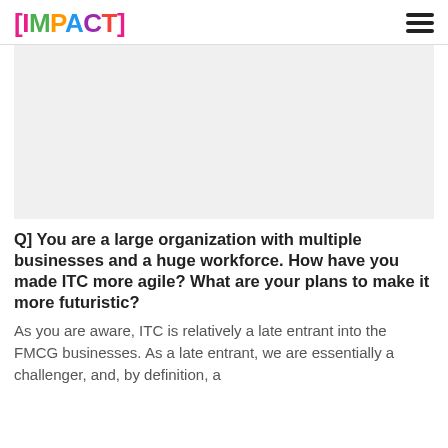[IMPACT]
[Figure (photo): A light gray rectangular image placeholder area beneath the header.]
Q] You are a large organization with multiple businesses and a huge workforce. How have you made ITC more agile? What are your plans to make it more futuristic?
As you are aware, ITC is relatively a late entrant into the FMCG businesses. As a late entrant, we are essentially a challenger, and, by definition, a